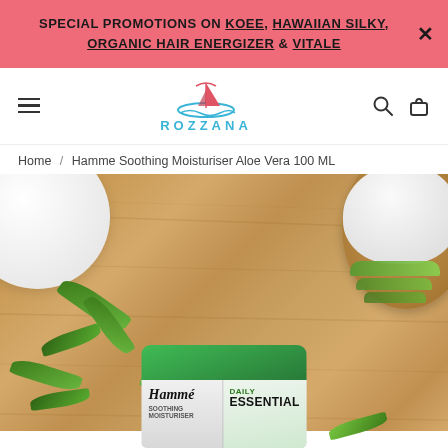SPECIAL PROMOTIONS ON KOEE, HAWAIIAN SILKY, ORGANIC HAIR ENERGIZER & VITALE
[Figure (logo): Rozzana brand logo with sailboat and wave icon above the text ROZZANA in teal/blue letters]
Home / Hamme Soothing Moisturiser Aloe Vera 100 ML
[Figure (photo): Product photo of Hamme Daily Essential moisturiser jar with green lid, placed on a wooden background surrounded by aloe vera leaves and a white bowl and wooden plate with cream]